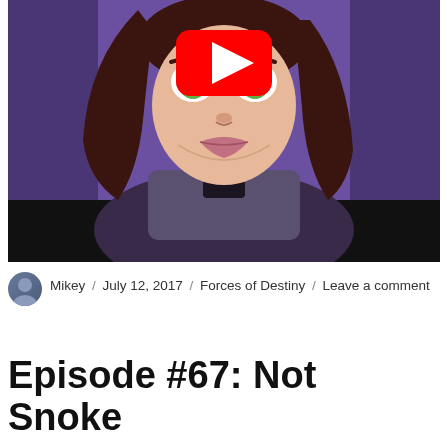[Figure (screenshot): A YouTube video thumbnail showing an animated female character with brown hair and green eyes, wearing a dark outfit against a purple background. A red YouTube play button overlay is centered on the image. The bottom portion fades to black (letterbox).]
Mikey / July 12, 2017 / Forces of Destiny / Leave a comment
Episode #67: Not Snoke